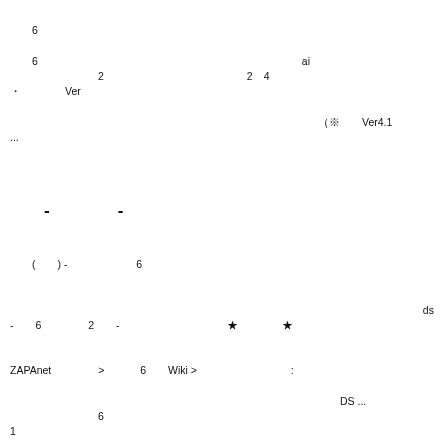6　　　　　　　　　　　　　　　　　　　　　　　　　　　　　　　　　　　　　　　　　　　　　　　　　
　　　　　　　　　　　　　　　　　　　　　　　
　　6　　　　　　　　　　　　　　　　　　　　　　　　ai　　　　　　　　　　　　　　　　　　　　　　
　　　　　　　2　　　　　　　　　　　　　2　4　　　　
・　　　　Ver 　　　　　　　　　　　　　　　　　　　　　　　　　　　　　　　　　　　　　　　　　　　
　　　　　　　　　　　　　　　　　　　　　　　　　　　　※　　Ver4.1　　　　　　　　　　　　　　 ...
-　　　　-
(　　) - 　　　　　　　6　　　　　　　 　　　　　　　　　　　　　　　　　　　　　　　　　　　　　　　
　　　　　　　　　　　　　　　　　
　　　　　　　　　　　　　　　　　　　　　　　　　　　　　　　　　　　　　　　　　　　　　　　　　　
　　　　　　　　　　　　　　　　　　　　　 　　　　　　　　 ds　
-　　　6 　　　　2　　- 　　　　　　　 　　 ★　　　　★ 　　 　　　 　　　 　　　 　　 　　　
　　　　　　　　　　　　 　　　　　　　　　　　 　　　　　　　　　　　　　　　　　　　
ZAPAnet　　　　 > 　　　6　　Wiki > 　　 　　　　　　: 　　　　　　　　　　　　　　　　　　　　　
　　　　　　　　　　　　　　　　　　　　　　　　　　　　DS ...
　　　　　　　6　　　　　　　　　　 　　　　　　　　　　　　　　　　　　　　　　　　　　　　　 　　1